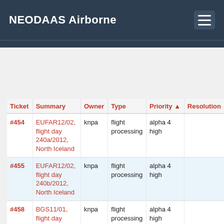NEODAAS Airborne
Status: assigned (5 matches)
| Ticket | Summary | Owner | Type | Priority ▲ | Resolution |
| --- | --- | --- | --- | --- | --- |
| #454 | EUFAR12/02, flight day 240a/2012, North Iceland | knpa | flight processing | alpha 4 high |  |
| #455 | EUFAR12/02, flight day 240b/2012, North Iceland | knpa | flight processing | alpha 4 high |  |
| #458 | BGS11/01, flight day 227/2012, Carlsberg | knpa | flight processing | alpha 4 high |  |
| #434 | GB12_04, flight day 086/2012, Eaves Wood | knpa | flight processing | alpha 4 medium |  |